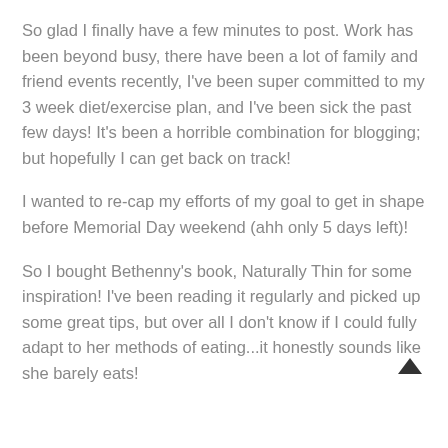So glad I finally have a few minutes to post. Work has been beyond busy, there have been a lot of family and friend events recently, I've been super committed to my 3 week diet/exercise plan, and I've been sick the past few days! It's been a horrible combination for blogging; but hopefully I can get back on track!
I wanted to re-cap my efforts of my goal to get in shape before Memorial Day weekend (ahh only 5 days left)!
So I bought Bethenny's book, Naturally Thin for some inspiration! I've been reading it regularly and picked up some great tips, but over all I don't know if I could fully adapt to her methods of eating...it honestly sounds like she barely eats!